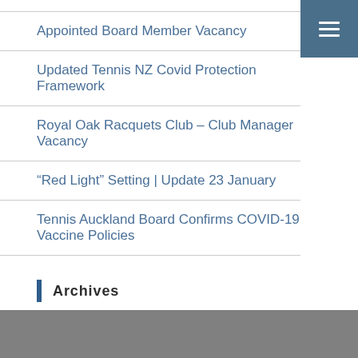Appointed Board Member Vacancy
Updated Tennis NZ Covid Protection Framework
Royal Oak Racquets Club – Club Manager Vacancy
“Red Light” Setting | Update 23 January
Tennis Auckland Board Confirms COVID-19 Vaccine Policies
Archives
Select Month